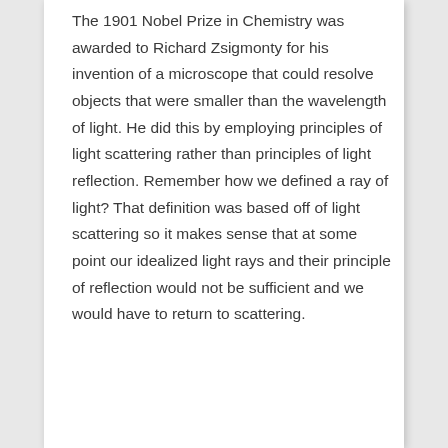The 1901 Nobel Prize in Chemistry was awarded to Richard Zsigmonty for his invention of a microscope that could resolve objects that were smaller than the wavelength of light. He did this by employing principles of light scattering rather than principles of light reflection. Remember how we defined a ray of light? That definition was based off of light scattering so it makes sense that at some point our idealized light rays and their principle of reflection would not be sufficient and we would have to return to scattering.